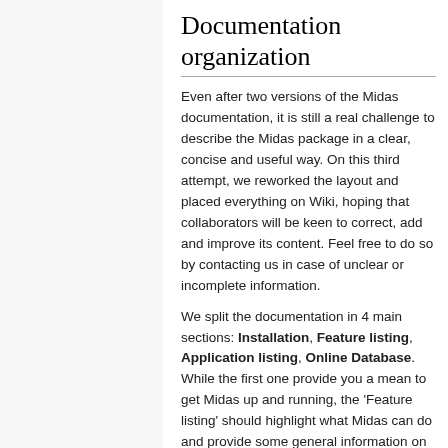Documentation organization
Even after two versions of the Midas documentation, it is still a real challenge to describe the Midas package in a clear, concise and useful way. On this third attempt, we reworked the layout and placed everything on Wiki, hoping that collaborators will be keen to correct, add and improve its content. Feel free to do so by contacting us in case of unclear or incomplete information.
We split the documentation in 4 main sections: Installation, Feature listing, Application listing, Online Database. While the first one provide you a mean to get Midas up and running, the 'Feature listing' should highlight what Midas can do and provide some general information on its implementation. The 'Application